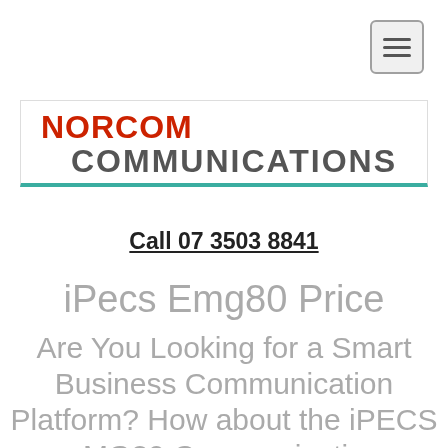[Figure (other): Hamburger menu button icon in top right corner]
[Figure (logo): Norcom Communications logo with red NORCOM text and grey COMMUNICATIONS text, teal underline bar]
Call 07 3503 8841
iPecs Emg80 Price
Are You Looking for a Smart Business Communication Platform? How about the iPECS eMG80 Communication Platform?